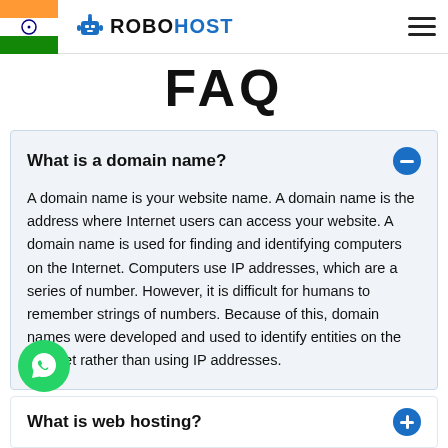ROBOHOST
FAQ
What is a domain name?
A domain name is your website name. A domain name is the address where Internet users can access your website. A domain name is used for finding and identifying computers on the Internet. Computers use IP addresses, which are a series of number. However, it is difficult for humans to remember strings of numbers. Because of this, domain names were developed and used to identify entities on the Internet rather than using IP addresses.
What is web hosting?